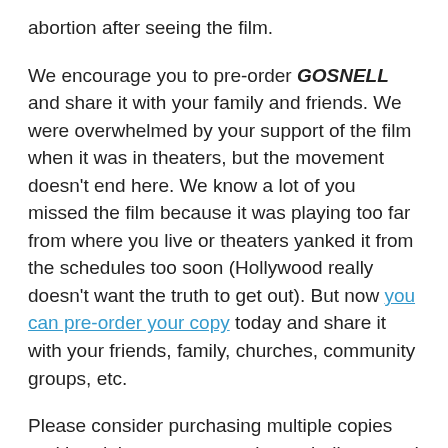abortion after seeing the film.
We encourage you to pre-order GOSNELL and share it with your family and friends. We were overwhelmed by your support of the film when it was in theaters, but the movement doesn't end here. We know a lot of you missed the film because it was playing too far from where you live or theaters yanked it from the schedules too soon (Hollywood really doesn't want the truth to get out). But now you can pre-order your copy today and share it with your friends, family, churches, community groups, etc.
Please consider purchasing multiple copies and hand them out to people you believe need to hear the truth about abortion. And don't worry about it being graphic - the film is PG-13. We heard from people all over the country who took their teenage children to see GOSNELL and were grateful.